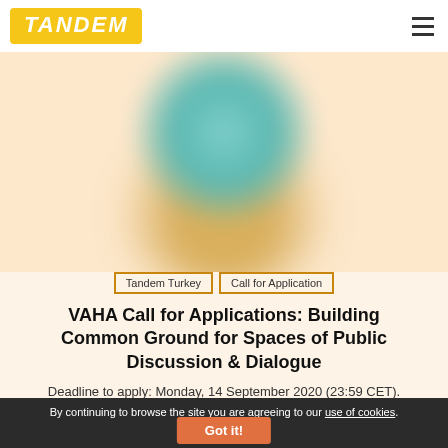TANDEM
[Figure (illustration): Blurred abstract blobs — a teal circle overlapping a golden/ochre circle on a peach background, creating a soft artistic composition]
Tandem Turkey | Call for Application
VAHA Call for Applications: Building Common Ground for Spaces of Public Discussion & Dialogue
Deadline to apply: Monday, 14 September 2020 (23:59 CET).
By continuing to browse the site you are agreeing to our use of cookies. Got it!